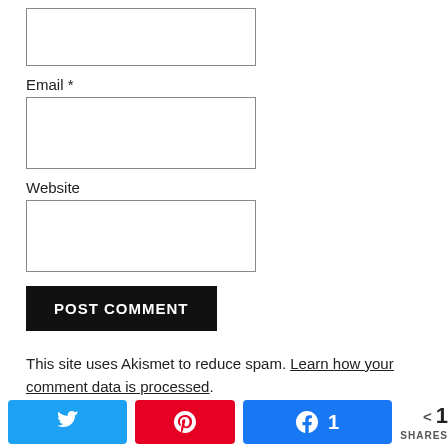[Figure (other): Empty text input box (top, partially visible)]
Email *
[Figure (other): Email input text box]
Website
[Figure (other): Website input text box]
POST COMMENT
This site uses Akismet to reduce spam. Learn how your comment data is processed.
SEARCH
[Figure (other): Search input text box]
[Figure (other): Social sharing bar with Twitter, Pinterest, Facebook (1 share) buttons and share count]